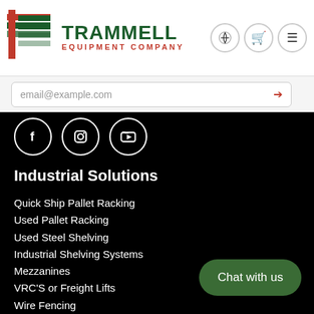[Figure (logo): Trammell Equipment Company logo with stylized T icon in red and green, company name in dark green, EQUIPMENT COMPANY in red]
email@example.com
[Figure (other): Social media icons: Facebook, Instagram, YouTube in white circles on black background]
Industrial Solutions
Quick Ship Pallet Racking
Used Pallet Racking
Used Steel Shelving
Industrial Shelving Systems
Mezzanines
VRC'S or Freight Lifts
Wire Fencing
Modular Inplant Offices
Guard Rail
Industrial Shelving with Drawers
Chat with us